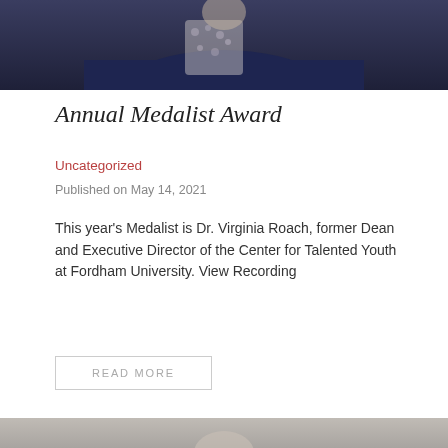[Figure (photo): Partial photo of a person wearing a dark navy blazer and floral blouse, cropped at the shoulders and torso]
Annual Medalist Award
Uncategorized
Published on May 14, 2021
This year's Medalist is Dr. Virginia Roach, former Dean and Executive Director of the Center for Talented Youth at Fordham University. View Recording
READ MORE
[Figure (photo): Bottom portion of another photo, partially visible, appears to show a person against a gray background]